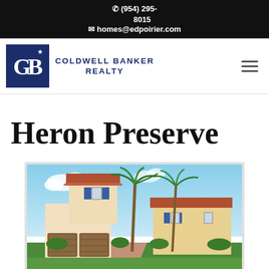(954) 295-8015  homes@edpoirier.com
[Figure (logo): Coldwell Banker Realty logo with dark blue CB monogram in a square]
Heron Preserve
[Figure (photo): Exterior photo of a two-story Mediterranean-style townhouse with terracotta roof, blue shutters, palm trees, and a paver driveway with two-car garage doors]